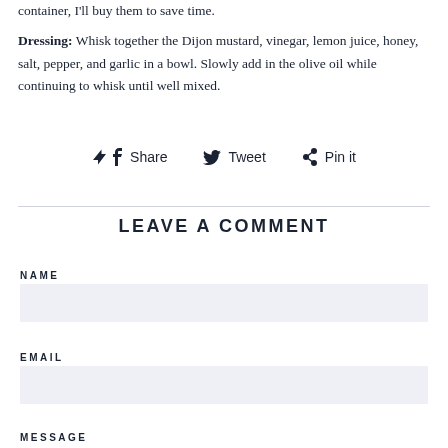container, I'll buy them to save time.
Dressing: Whisk together the Dijon mustard, vinegar, lemon juice, honey, salt, pepper, and garlic in a bowl. Slowly add in the olive oil while continuing to whisk until well mixed.
Share  Tweet  Pin it
LEAVE A COMMENT
NAME
EMAIL
MESSAGE